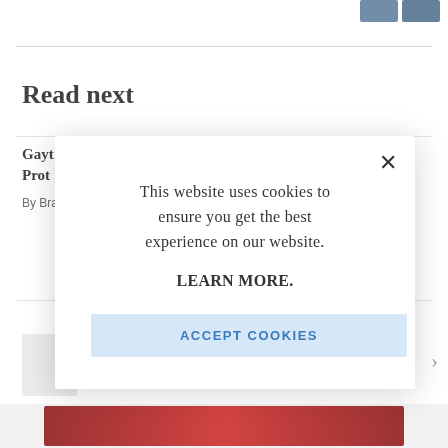[Figure (photo): Two small thumbnail images in the top right corner of the page, showing people in blue clothing]
Read next
Gayt... Prot...
By Bra...
[Figure (screenshot): Cookie consent modal dialog with close button (X), message 'This website uses cookies to ensure you get the best experience on our website.', a 'LEARN MORE.' link, and an 'ACCEPT COOKIES' button]